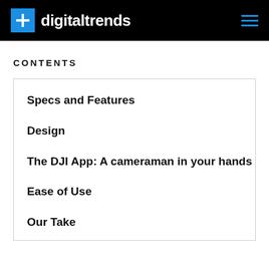digitaltrends
CONTENTS
Specs and Features
Design
The DJI App: A cameraman in your hands
Ease of Use
Our Take